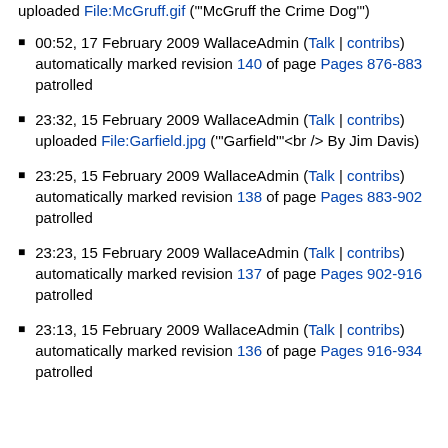uploaded File:McGruff.gif ("'McGruff the Crime Dog'")
00:52, 17 February 2009 WallaceAdmin (Talk | contribs) automatically marked revision 140 of page Pages 876-883 patrolled
23:32, 15 February 2009 WallaceAdmin (Talk | contribs) uploaded File:Garfield.jpg ("'Garfield'"<br /> By Jim Davis)
23:25, 15 February 2009 WallaceAdmin (Talk | contribs) automatically marked revision 138 of page Pages 883-902 patrolled
23:23, 15 February 2009 WallaceAdmin (Talk | contribs) automatically marked revision 137 of page Pages 902-916 patrolled
23:13, 15 February 2009 WallaceAdmin (Talk | contribs) automatically marked revision 136 of page Pages 916-934 patrolled